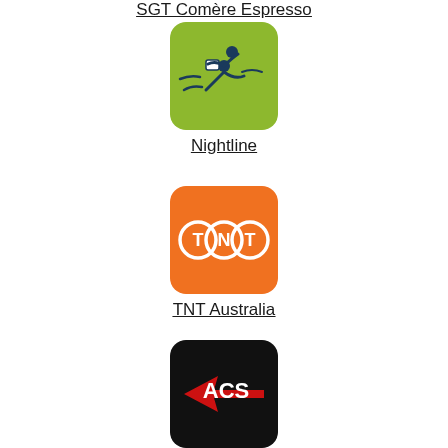SGT Comère Espresso
[Figure (logo): Nightline courier logo — green rounded square with a running figure holding a package in dark blue]
Nightline
[Figure (logo): TNT Australia logo — orange rounded square with three white circles each containing the letters T, N, T]
TNT Australia
[Figure (logo): ACS Courier logo — black rounded square with red arrow/wing graphic and white ACS text]
ACS Courier